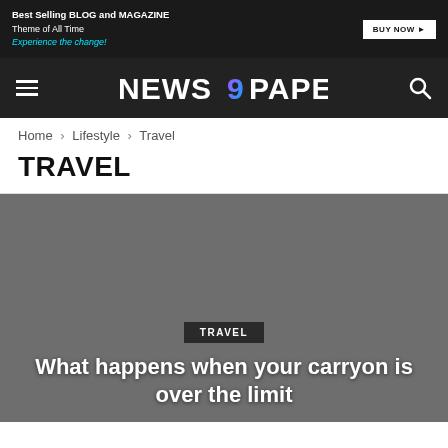[Figure (screenshot): Advertisement banner: dark background with text 'Best Selling BLOG and MAGAZINE Theme of All Time Experience the change!' and a 'BUY NOW' button on the right.]
NEWS 9 PAPER
Home › Lifestyle › Travel
TRAVEL
[Figure (photo): Dark grey hero image area for a travel article.]
TRAVEL
What happens when your carryon is over the limit